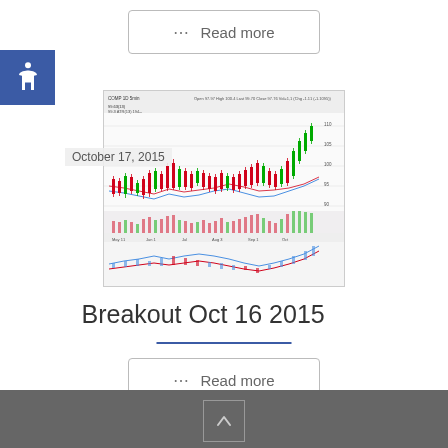[Figure (other): Read more button with grid dots icon, bordered rectangle]
[Figure (screenshot): Stock chart screenshot showing candlestick price chart with moving averages, volume bars, and MACD indicator. Date overlay shows October 17, 2015.]
October 17, 2015
Breakout Oct 16 2015
[Figure (other): Read more button with grid dots icon, bordered rectangle]
[Figure (other): Footer bar with up arrow button]